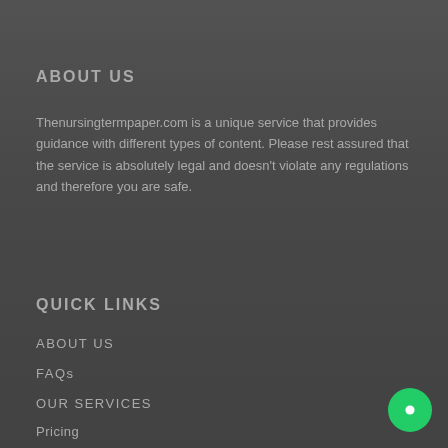ABOUT US
Thenursingtermpaper.com is a unique service that provides guidance with different types of content. Please rest assured that the service is absolutely legal and doesn't violate any regulations and therefore you are safe.
QUICK LINKS
ABOUT US
FAQs
OUR SERVICES
Pricing